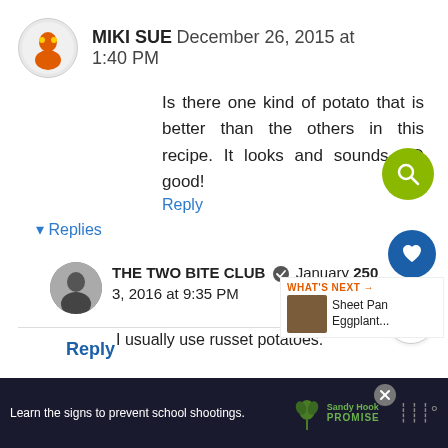MIKI SUE December 26, 2015 at 1:40 PM
Is there one kind of potato that is better than the others in this recipe. It looks and sounds SO good!
Reply
▾ Replies
THE TWO BITE CLUB ✓ January 3, 2016 at 9:35 PM 250
I usually use russet potatoes.
Reply
WHAT'S NEXT → Sheet Pan Eggplant...
Learn the signs to prevent school shootings.